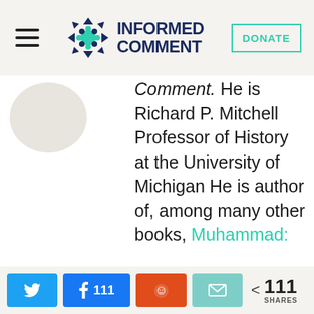INFORMED COMMENT
Comment. He is Richard P. Mitchell Professor of History at the University of Michigan He is author of, among many other books, Muhammad:
111 SHARES